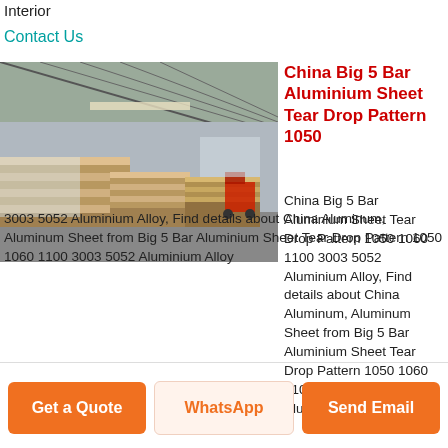Interior
Contact Us
[Figure (photo): Warehouse interior showing stacked aluminium sheets on wooden pallets wrapped in plastic, with a forklift visible in the background under a steel roof structure.]
China Big 5 Bar Aluminium Sheet Tear Drop Pattern 1050
China Big 5 Bar Aluminium Sheet Tear Drop Pattern 1050 1060 1100 3003 5052 Aluminium Alloy, Find details about China Aluminum, Aluminum Sheet from Big 5 Bar Aluminium Sheet Tear Drop Pattern 1050 1060 1100 3003 5052 Aluminium Alloy
Get a Quote
WhatsApp
Send Email